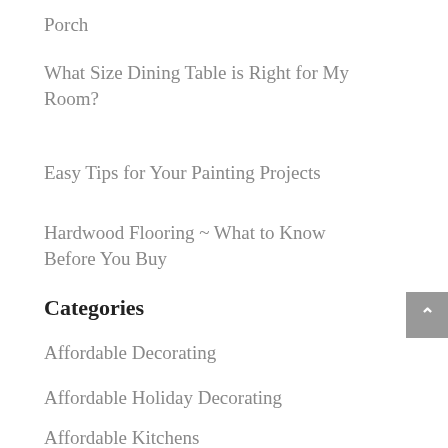Porch
What Size Dining Table is Right for My Room?
Easy Tips for Your Painting Projects
Hardwood Flooring ~ What to Know Before You Buy
Categories
Affordable Decorating
Affordable Holiday Decorating
Affordable Kitchens